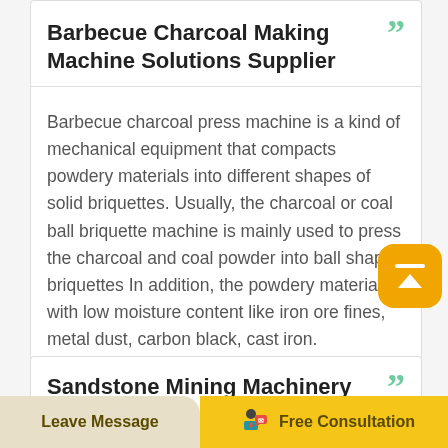Barbecue Charcoal Making Machine Solutions Supplier
Barbecue charcoal press machine is a kind of mechanical equipment that compacts powdery materials into different shapes of solid briquettes. Usually, the charcoal or coal ball briquette machine is mainly used to press the charcoal and coal powder into ball shape briquettes In addition, the powdery materials with low moisture content like iron ore fines, metal dust, carbon black, cast iron.
Sandstone Mining Machinery For
Leave Message
Free Consultation